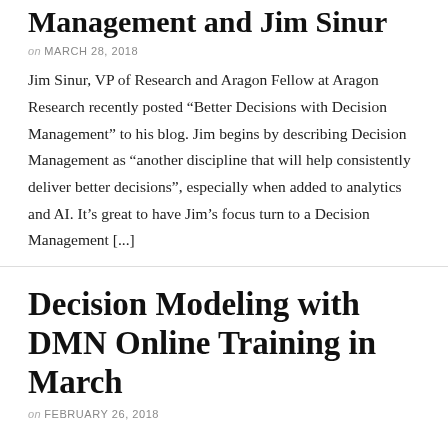Management and Jim Sinur
on MARCH 28, 2018
Jim Sinur, VP of Research and Aragon Fellow at Aragon Research recently posted “Better Decisions with Decision Management” to his blog. Jim begins by describing Decision Management as “another discipline that will help consistently deliver better decisions”, especially when added to analytics and AI. It’s great to have Jim’s focus turn to a Decision Management [...]
Decision Modeling with DMN Online Training in March
on FEBRUARY 26, 2018